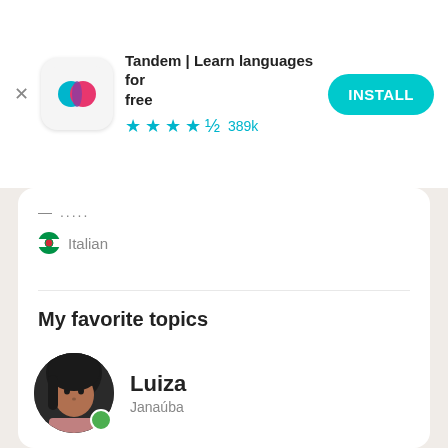[Figure (screenshot): App store banner for Tandem language learning app with teal/pink logo, star rating 389k, and INSTALL button]
Tandem | Learn languages for free
★★★★½ 389k
— ..... Italian
My favorite topics
Conversar sobre tudo...Read more
[Figure (screenshot): Get the app button in teal/cyan color]
[Figure (photo): Profile photo of Luiza from Janaúba with green online indicator dot]
Luiza
Janaúba